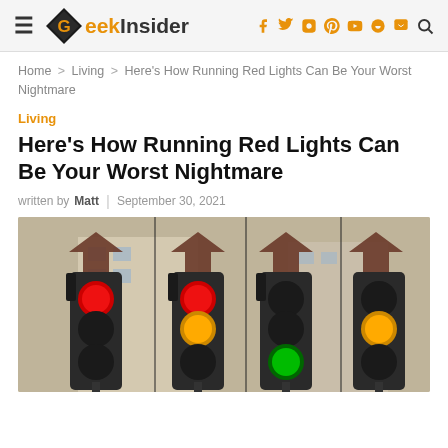Geek Insider
Home > Living > Here's How Running Red Lights Can Be Your Worst Nightmare
Living
Here's How Running Red Lights Can Be Your Worst Nightmare
written by Matt | September 30, 2021
[Figure (photo): Multiple traffic lights showing red and yellow/green signals, mounted on poles with arrow signs above them, photographed from below against a building backdrop.]